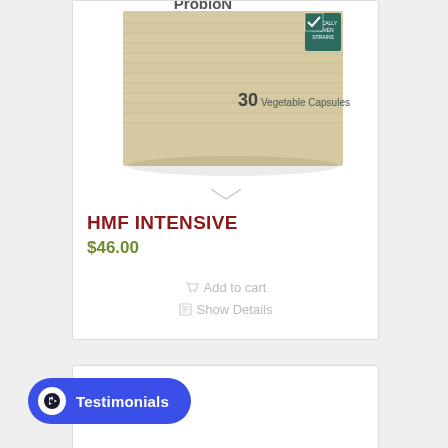[Figure (photo): Product photo of HMF Intensive supplement box, beige/tan colored box showing '30 Vegetable Capsules' and a clinically proven strains badge with checkmark]
HMF INTENSIVE
$46.00
Add to cart
Show Details
[Figure (other): Bottom of second product card, partially visible]
Testimonials